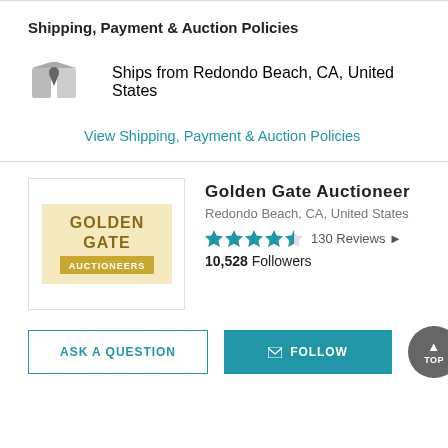Shipping, Payment & Auction Policies
Ships from Redondo Beach, CA, United States
View Shipping, Payment & Auction Policies
Golden Gate Auctioneer
Redondo Beach, CA, United States
130 Reviews
10,528 Followers